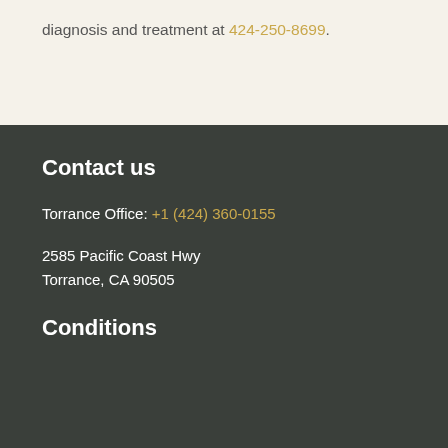diagnosis and treatment at 424-250-8699.
Contact us
Torrance Office: +1 (424) 360-0155
2585 Pacific Coast Hwy
Torrance, CA 90505
Conditions